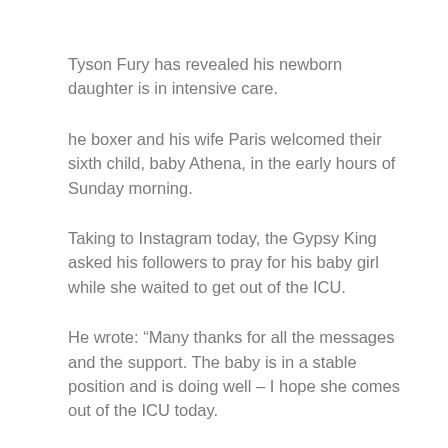Tyson Fury has revealed his newborn daughter is in intensive care.
he boxer and his wife Paris welcomed their sixth child, baby Athena, in the early hours of Sunday morning.
Taking to Instagram today, the Gypsy King asked his followers to pray for his baby girl while she waited to get out of the ICU.
“Many thanks for all the messages and the support. The baby is in a stable position and is doing well – I hope she comes out of the ICU today.
“Please keep baby Athena in your prayers. Paris is doing very well. God protects you.”